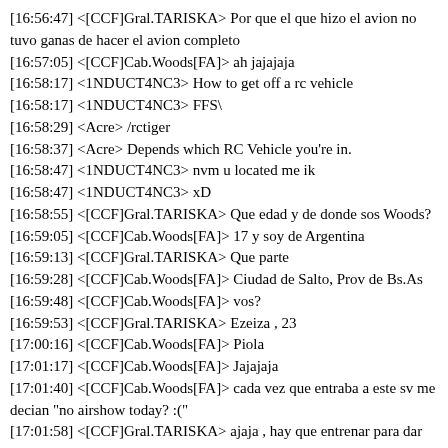[16:56:47] <[CCF]Gral.TARISKA> Por que el que hizo el avion no tuvo ganas de hacer el avion completo
[16:57:05] <[CCF]Cab.Woods[FA]> ah jajajaja
[16:58:17] <1NDUCT4NC3> How to get off a rc vehicle
[16:58:17] <1NDUCT4NC3> FFS\
[16:58:29] <Acre> /rctiger
[16:58:37] <Acre> Depends which RC Vehicle you're in.
[16:58:47] <1NDUCT4NC3> nvm u located me ik
[16:58:47] <1NDUCT4NC3> xD
[16:58:55] <[CCF]Gral.TARISKA> Que edad y de donde sos Woods?
[16:59:05] <[CCF]Cab.Woods[FA]> 17 y soy de Argentina
[16:59:13] <[CCF]Gral.TARISKA> Que parte
[16:59:28] <[CCF]Cab.Woods[FA]> Ciudad de Salto, Prov de Bs.As
[16:59:48] <[CCF]Cab.Woods[FA]> vos?
[16:59:53] <[CCF]Gral.TARISKA> Ezeiza , 23
[17:00:16] <[CCF]Cab.Woods[FA]> Piola
[17:01:17] <[CCF]Cab.Woods[FA]> Jajajaja
[17:01:40] <[CCF]Cab.Woods[FA]> cada vez que entraba a este sv me decian "no airshow today? :("
[17:01:58] <[CCF]Gral.TARISKA> ajaja , hay que entrenar para dar un airshow decente
[17:02:11] <Acre> !houses shazi
[17:02:14] (WEB) <robin_be> Doherty: $12,000,000 6 slots Los